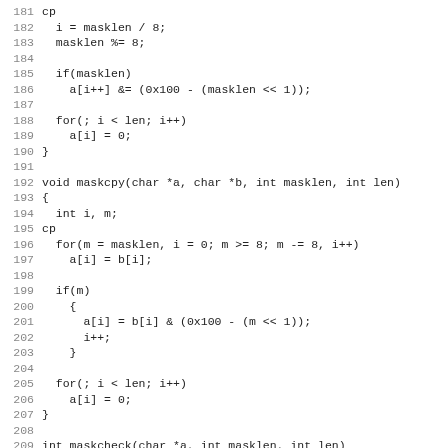Source code listing lines 181-212, showing C functions including maskcpy and maskcheck with line numbers.